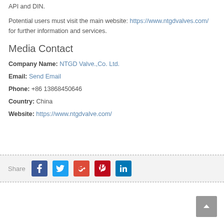API and DIN.
Potential users must visit the main website: https://www.ntgdvalves.com/ for further information and services.
Media Contact
Company Name: NTGD Valve.,Co. Ltd.
Email: Send Email
Phone: +86 13868450646
Country: China
Website: https://www.ntgdvalve.com/
[Figure (infographic): Share bar with social media icons: Facebook, Twitter, Google+, Pinterest, LinkedIn]